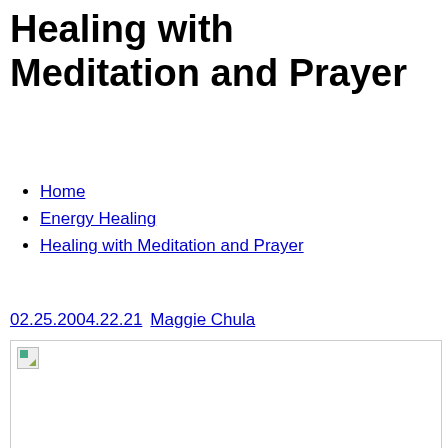Healing with Meditation and Prayer
Home
Energy Healing
Healing with Meditation and Prayer
02.25.2004.22.21  Maggie Chula
[Figure (photo): Broken/unloaded image placeholder below the byline]